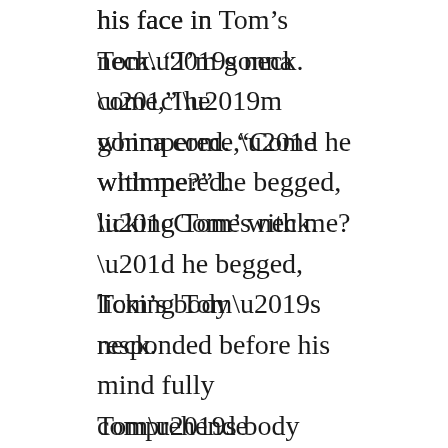his face in Tom’s neck. “I’m gonna come,” he whimpered. “Come with me?” he begged, licking Tom’s neck.

Tom’s body responded before his mind fully comprehende